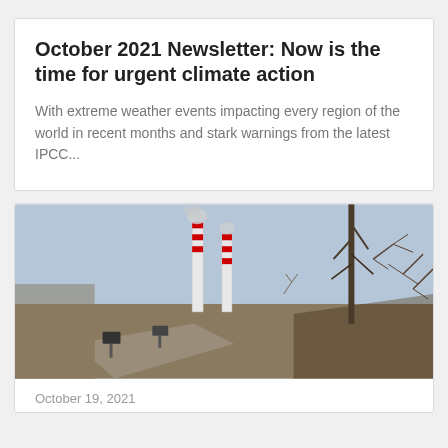October 2021 Newsletter: Now is the time for urgent climate action
With extreme weather events impacting every region of the world in recent months and stark warnings from the latest IPCC...
[Figure (photo): Industrial smokestacks emitting smoke against a grey-blue sky, with bare dry shrubs and an earthen embankment in the foreground and a dirt road running through the scene.]
October 19, 2021